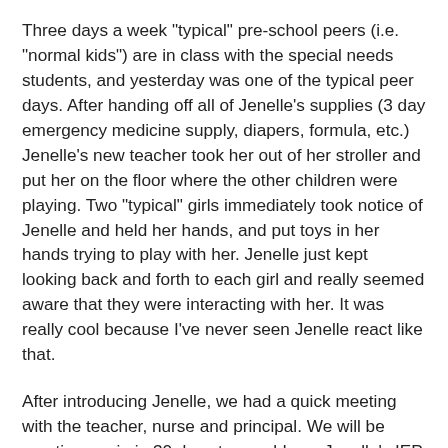Three days a week "typical" pre-school peers (i.e. "normal kids") are in class with the special needs students, and yesterday was one of the typical peer days. After handing off all of Jenelle's supplies (3 day emergency medicine supply, diapers, formula, etc.) Jenelle's new teacher took her out of her stroller and put her on the floor where the other children were playing. Two "typical" girls immediately took notice of Jenelle and held her hands, and put toys in her hands trying to play with her. Jenelle just kept looking back and forth to each girl and really seemed aware that they were interacting with her. It was really cool because I've never seen Jenelle react like that.
After introducing Jenelle, we had a quick meeting with the teacher, nurse and principal. We will be meeting again in 30 days to re-address Jenelle's IEP and change her goals as needed. I talked about the "one thing" the District wouldn't agree to change at our IEP, which was placing Jenelle down as qualifying for "low incidence funding" (additional funding) because of her blindness, and they immediately changed it on her IEP. They told me they like to use as many recourses as they can, and we agree with this, that enabled all...